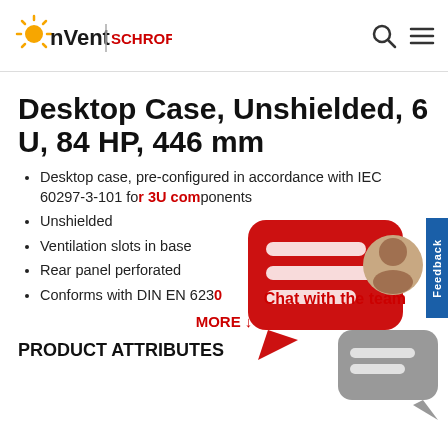nVent SCHROFF
Desktop Case, Unshielded, 6 U, 84 HP, 446 mm
Desktop case, pre-configured in accordance with IEC 60297-3-101 for 3U components
Unshielded
Ventilation slots in base
Rear panel perforated
Conforms with DIN EN 6230
MORE ↓
PRODUCT ATTRIBUTES